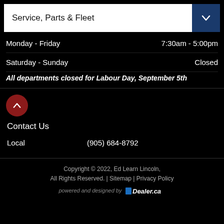Service, Parts & Fleet
Monday - Friday   7:30am - 5:00pm
Saturday - Sunday   Closed
All departments closed for Labour Day, September 5th
Contact Us
Local   (905) 684-8792
Copyright © 2022, Ed Learn Lincoln, All Rights Reserved. | Sitemap | Privacy Policy
powered and designed by Dealer.ca